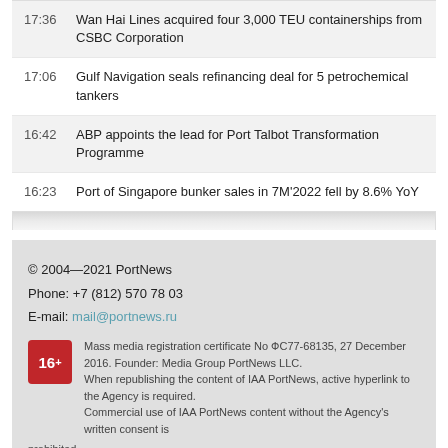17:36  Wan Hai Lines acquired four 3,000 TEU containerships from CSBC Corporation
17:06  Gulf Navigation seals refinancing deal for 5 petrochemical tankers
16:42  ABP appoints the lead for Port Talbot Transformation Programme
16:23  Port of Singapore bunker sales in 7M'2022 fell by 8.6% YoY
© 2004—2021 PortNews
Phone: +7 (812) 570 78 03
E-mail: mail@portnews.ru
Mass media registration certificate No ФС77-68135, 27 December 2016. Founder: Media Group PortNews LLC.
When republishing the content of IAA PortNews, active hyperlink to the Agency is required.
Commercial use of IAA PortNews content without the Agency's written consent is prohibited.